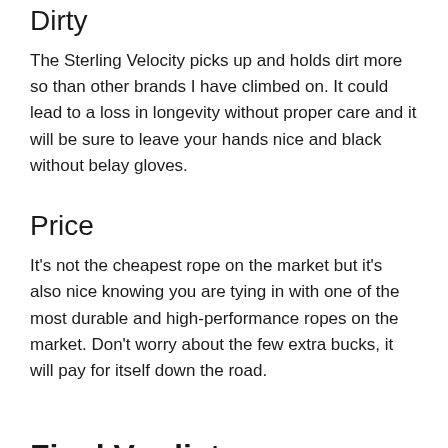Dirty
The Sterling Velocity picks up and holds dirt more so than other brands I have climbed on. It could lead to a loss in longevity without proper care and it will be sure to leave your hands nice and black without belay gloves.
Price
It's not the cheapest rope on the market but it's also nice knowing you are tying in with one of the most durable and high-performance ropes on the market. Don't worry about the few extra bucks, it will pay for itself down the road.
Final Verdict